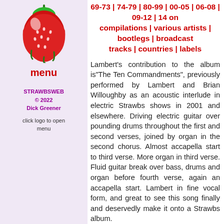[Figure (illustration): Strawberry logo illustration - a red strawberry with green leaves and stem on a light purple background]
menu
STRAWBSWEB © 2022 Dick Greener
click logo to open menu
69-73 | 74-79 | 80-99 | 00-05 | 06-08 | 09-12 | 14 on compilations | various artists | bootlegs | broadcast tracks | countries | labels
Lambert's contribution to the album is"The Ten Commandments", previously performed by Lambert and Brian Willoughby as an acoustic interlude in electric Strawbs shows in 2001 and elsewhere. Driving electric guitar over pounding drums throughout the first and second verses, joined by organ in the second chorus. Almost accapella start to third verse. More organ in third verse. Fluid guitar break over bass, drums and organ before fourth verse, again an accapella start. Lambert in fine vocal form, and great to see this song finally and deservedly make it onto a Strawbs album.
"The Ferryman's Curse" is of course the much-heralded sequel to the 28-verse epic "Vision Of The Lady Of The Lake" on 1970's Dragonfly. No spoilers here as to the storyline, but it's chilling and sinister with many a twist in the tale. It